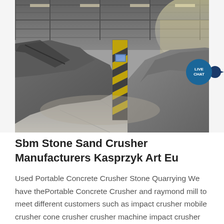[Figure (photo): Industrial warehouse or factory interior showing large piles of crushed stone/aggregate material with conveyor equipment and steel roof structure. Black and white photograph of a stone crushing facility.]
Sbm Stone Sand Crusher Manufacturers Kasprzyk Art Eu
Used Portable Concrete Crusher Stone Quarrying We have thePortable Concrete Crusher and raymond mill to meet different customers such as impact crusher mobile crusher cone crusher crusher machine impact crusher